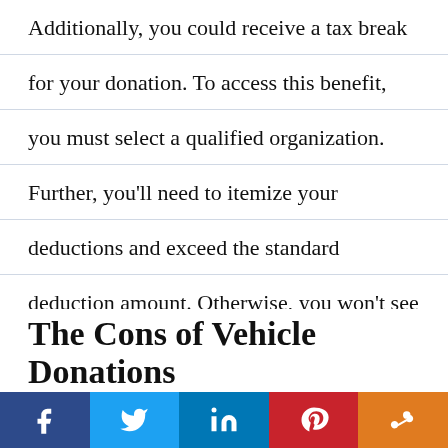Additionally, you could receive a tax break for your donation. To access this benefit, you must select a qualified organization. Further, you'll need to itemize your deductions and exceed the standard deduction amount. Otherwise, you won't see any tax-related gain from making the donation.
Another benefit is the ability to get rid of an unwanted vehicle that you would otherwise have trouble selling. This usually includes cars that would cost more to get up and running than they are worth fixing. Some charities will accept wrecked or junk vehicles that don't run, as long as there is some value in the car.
The Cons of Vehicle Donations